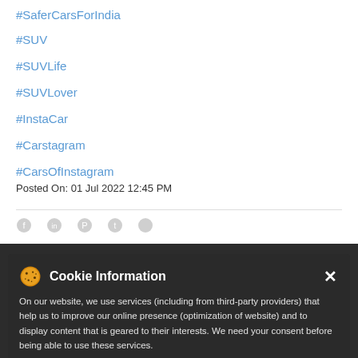#SaferCarsForIndia
#SUV
#SUVLife
#SUVLover
#InstaCar
#Carstagram
#CarsOfInstagram
Posted On: 01 Jul 2022 12:45 PM
Cookie Information
On our website, we use services (including from third-party providers) that help us to improve our online presence (optimization of website) and to display content that is geared to their interests. We need your consent before being able to use these services.
That's how we #PackAPUNCH! Tata PUNCH packs in the award for Vehicle of the Year - Safety at The Economic Times Global Automotive Summit and Awards 2022. Hurraul #VibesWithYou #TataPUNCH #TataMotorsPassengerVehicles #Award #SaferCarsForIndia #SUV #SUVLife #SUVLover
#PackAPUNCH
#VibesWithYou